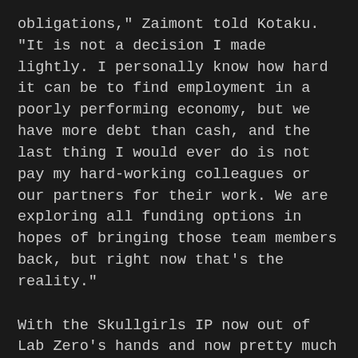obligations," Zaimont told Kotaku. "It is not a decision I made lightly. I personally know how hard it can be to find employment in a poorly performing economy, but we have more debt than cash, and the last thing I would ever do is not pay my hard-working colleagues or our partners for their work. We are exploring all funding options in hopes of bringing those team members back, but right now that's the reality."
With the Skullgirls IP now out of Lab Zero's hands and now pretty much all of its employees gone, it doesn't seem as though the stark reality of Lab Zero and particularly Zaimont are one that's about to change anytime soon. The best it seems we can hope for is that all of the talented staff at Lab Zero, involved in the recent incidents or not, find their footing elsewhere in the industry. Stay tuned for more information and